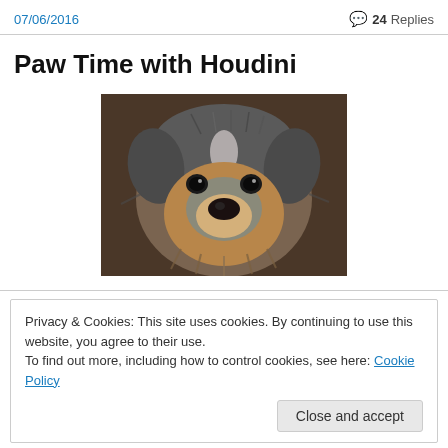07/06/2016   💬 24 Replies
Paw Time with Houdini
[Figure (photo): Close-up photo of a small fluffy dog (Houdini), a Schnauzer or similar breed, with gray and tan fur, looking directly at the camera.]
Privacy & Cookies: This site uses cookies. By continuing to use this website, you agree to their use.
To find out more, including how to control cookies, see here: Cookie Policy
[Figure (photo): Partial bottom thumbnail image, appears to be another dog photo, cropped.]